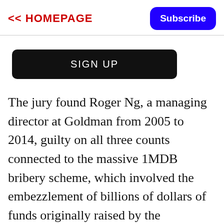<< HOMEPAGE
Subscribe
SIGN UP
The jury found Roger Ng, a managing director at Goldman from 2005 to 2014, guilty on all three counts connected to the massive 1MDB bribery scheme, which involved the embezzlement of billions of dollars of funds originally raised by the investment bank.